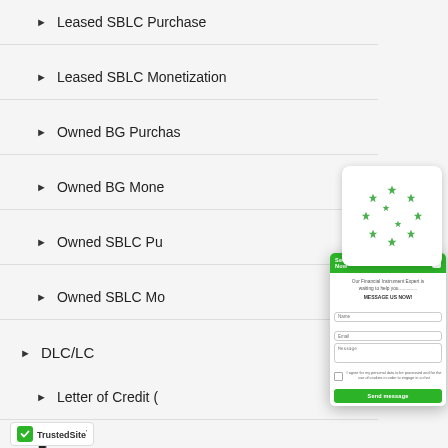Leased SBLC Purchase
Leased SBLC Monetization
Owned BG Purchase
Owned BG Monetization
Owned SBLC Purchase
Owned SBLC Monetization
DLC/LC
Letter of Credit (
Documentary Le
Trade Goods On
MTN/LTN
MTN Monetization
[Figure (screenshot): Secure Encrypted Chat widget popup with green header saying 'Secure Encrypted Chat - Write Now', body text 'Our Financial Instrument Expert is waiting to help you.............. MESSAGE US NOW!', input fields for Name, Email, Message, a checkbox for data processing consent, and a green 'Send message' button. Above the popup is a white rounded square badge with a circular star/rating icon.]
[Figure (logo): TrustedSite logo badge with green checkmark and text 'TrustedSite']